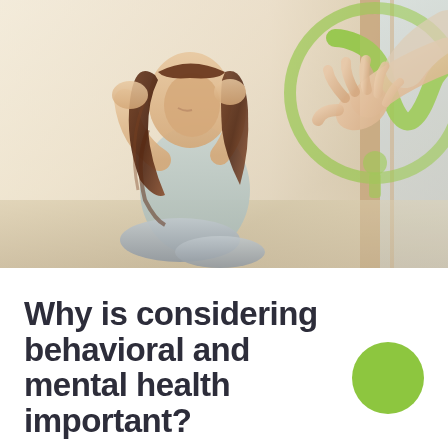[Figure (photo): A woman sitting hunched over with her head in her hands appearing distressed, with a hand reaching out toward her from the right side. A green medical/health logo watermark is visible in the background. Warm indoor lighting.]
Why is considering behavioral and mental health important?